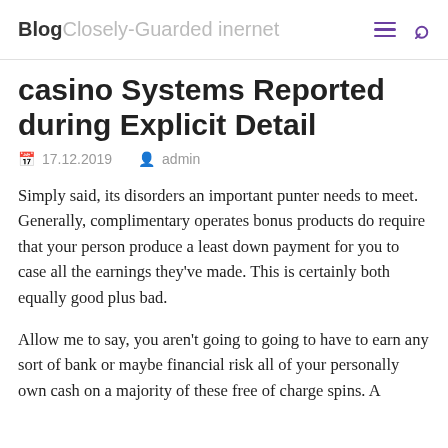Blog Closely-Guarded internet
casino Systems Reported during Explicit Detail
17.12.2019   admin
Simply said, its disorders an important punter needs to meet. Generally, complimentary operates bonus products do require that your person produce a least down payment for you to case all the earnings they've made. This is certainly both equally good plus bad.
Allow me to say, you aren't going to going to have to earn any sort of bank or maybe financial risk all of your personally own cash on a majority of these free of charge spins. A